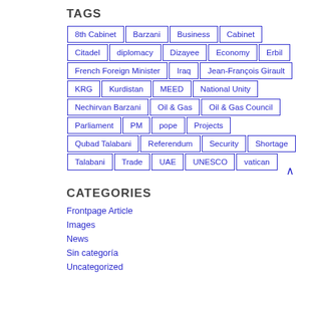TAGS
8th Cabinet
Barzani
Business
Cabinet
Citadel
diplomacy
Dizayee
Economy
Erbil
French Foreign Minister
Iraq
Jean-François Girault
KRG
Kurdistan
MEED
National Unity
Nechirvan Barzani
Oil & Gas
Oil & Gas Council
Parliament
PM
pope
Projects
Qubad Talabani
Referendum
Security
Shortage
Talabani
Trade
UAE
UNESCO
vatican
CATEGORIES
Frontpage Article
Images
News
Sin categoría
Uncategorized